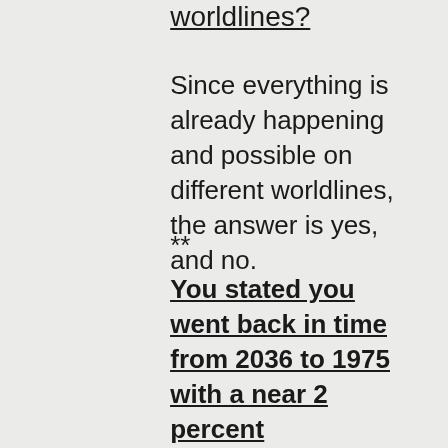worldlines?
Since everything is already happening and possible on different worldlines, the answer is yes, and no.
**
You stated you went back in time from 2036 to 1975 with a near 2 percent divergence. You also said that a zero divergence is a myth or